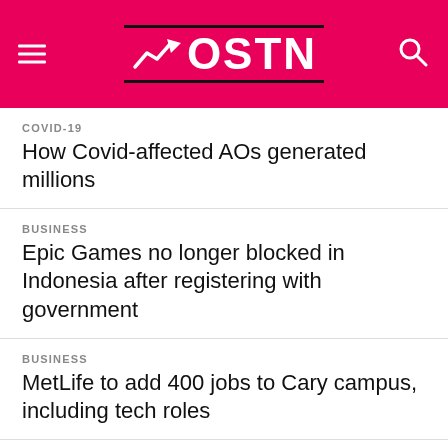[Figure (logo): OSTN news website header with pink/magenta background, hamburger menu icon on left, search icon on right, and OSTN logo with arrow chart icon in center]
COVID-19
How Covid-affected AOs generated millions
BUSINESS
Epic Games no longer blocked in Indonesia after registering with government
BUSINESS
MetLife to add 400 jobs to Cary campus, including tech roles
FASHION
H&M Revives Jane Fonda's Iconic VHS Workout Legacy + More Fashion News